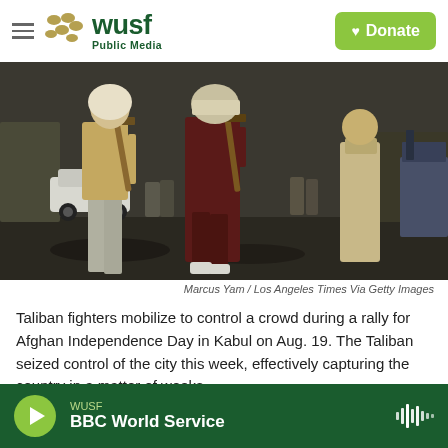WUSF Public Media — Donate
[Figure (photo): Taliban fighters holding rifles mobilize to control a crowd on a street, with a white car and market stalls visible in the background. Two figures in the foreground carry AK-type rifles; one wears a tan tactical vest and grey shalwar kameez, another wears a dark maroon robe.]
Marcus Yam / Los Angeles Times Via Getty Images
Taliban fighters mobilize to control a crowd during a rally for Afghan Independence Day in Kabul on Aug. 19. The Taliban seized control of the city this week, effectively capturing the country in a matter of weeks.
WUSF BBC World Service